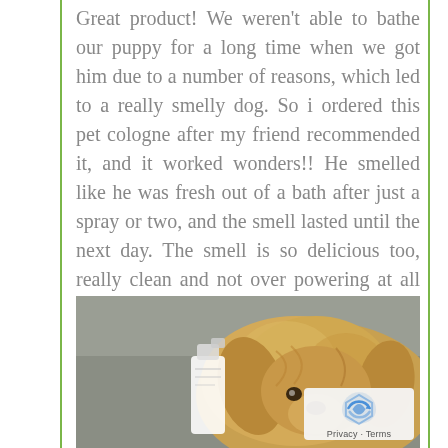Great product! We weren't able to bathe our puppy for a long time when we got him due to a number of reasons, which led to a really smelly dog. So i ordered this pet cologne after my friend recommended it, and it worked wonders!! He smelled like he was fresh out of a bath after just a spray or two, and the smell lasted until the next day. The smell is so delicious too, really clean and not over powering at all like another one i tried from the pet store that was making me sick. Def recommending it, and also going to try the other scent and shampoos. Pic added for cuteness :)
[Figure (photo): A golden/fluffy puppy lying on a grey couch cushion, with a white spray bottle visible in front of it.]